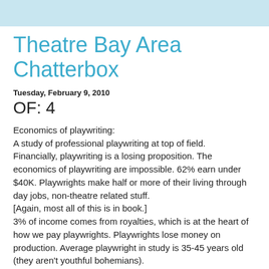Theatre Bay Area Chatterbox
Tuesday, February 9, 2010
OF: 4
Economics of playwriting:
A study of professional playwriting at top of field. Financially, playwriting is a losing proposition. The economics of playwriting are impossible. 62% earn under $40K. Playwrights make half or more of their living through day jobs, non-theatre related stuff.
[Again, most all of this is in book.]
3% of income comes from royalties, which is at the heart of how we pay playwrights. Playwrights lose money on production. Average playwright in study is 35-45 years old (they aren't youthful bohemians).
Commissions: A mixed bag. Getting money is good, but